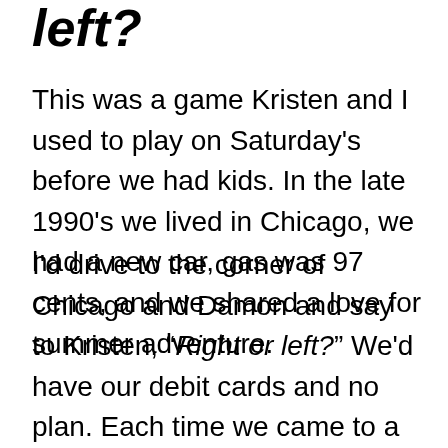left?
This was a game Kristen and I used to play on Saturday's before we had kids. In the late 1990's we lived in Chicago, we had a new car, gas was 97 cents, and we shared a love for summer adventure.
I'd drive to the corner of Chicago and Damon and say to Kristen, “Right or left?” We'd have our debit cards and no plan. Each time we came to a red light we'd pick a direction and keep going. When we saw something interesting we'd stop. When we were hungry